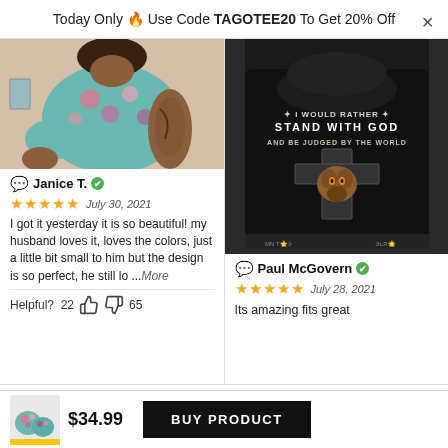Today Only 🔥 Use Code TAGOTEE20 To Get 20% Off
[Figure (photo): Photo of a person wearing a colorful floral Hawaiian shirt showing arm tattoos]
Janice T. ✓
★★★★★  July 30, 2021
I got it yesterday it is so beautiful! my husband loves it, loves the colors, just a little bit small to him but the design is so perfect, he still lo ...More
Helpful?  22 👍  👎 65
[Figure (photo): Photo of a person wearing a black hoodie with text 'I WOULD RATHER STAND WITH GOD AND BE JUDGED BY THE WORLD' and wolf/cross graphic on the back]
Paul McGovern ✓
★★★★★  July 28, 2021
Its amazing fits great
[Figure (photo): Product thumbnail of colorful Hawaiian shirts]
$34.99
BUY PRODUCT